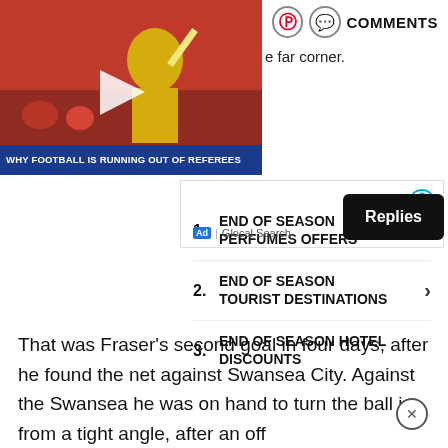COMMENTS
[Figure (photo): Video thumbnail showing a football referee in yellow jersey with arm raised. Caption reads: Why Football Is Running Out Of Referees]
e far corner.
[Figure (infographic): Advertisement box with 3 items: 1. END OF SEASON PERFUMES OFFERS, 2. END OF SEASON TOURIST DESTINATIONS, 3. END OF SEASON HOTEL DISCOUNTS. Ad | Glocal Search]
Replies
That was Fraser's second goal in four days, after he found the net against Swansea City. Against the Swansea he was on hand to turn the ball in from a tight angle, after an off